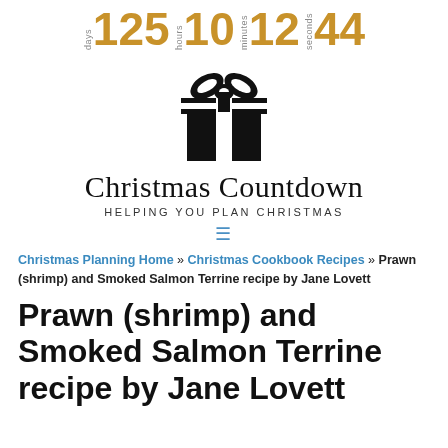days 125 hours 10 minutes 12 seconds 44
[Figure (illustration): Black gift box icon with ribbon and bow]
Christmas Countdown
HELPING YOU PLAN CHRISTMAS
≡
Christmas Planning Home » Christmas Cookbook Recipes » Prawn (shrimp) and Smoked Salmon Terrine recipe by Jane Lovett
Prawn (shrimp) and Smoked Salmon Terrine recipe by Jane Lovett